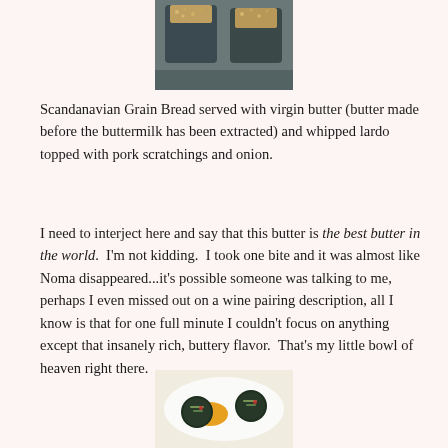[Figure (photo): Top portion of a food photo showing dark bowls or containers with grain/seeds on a wooden surface]
Scandanavian Grain Bread served with virgin butter (butter made before the buttermilk has been extracted) and whipped lardo topped with pork scratchings and onion.
I need to interject here and say that this butter is the best butter in the world.  I'm not kidding.  I took one bite and it was almost like Noma disappeared...it's possible someone was talking to me, perhaps I even missed out on a wine pairing description, all I know is that for one full minute I couldn't focus on anything except that insanely rich, buttery flavor.  That's my little bowl of heaven right there.
[Figure (photo): Food photo on a white plate showing dark round elements with garnishes and a yellow sauce, bottom portion of image]